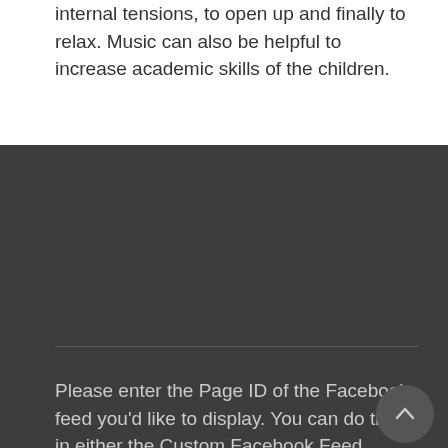internal tensions, to open up and finally to relax. Music can also be helpful to increase academic skills of the children.
Please enter the Page ID of the Facebook feed you'd like to display. You can do this in either the Custom Facebook Feed plugin settings or in the shortcode itself. For example, [custom-facebook-feed id=YOUR_PAGE_ID_HERE].